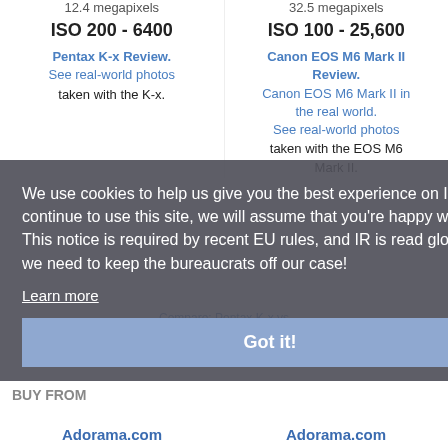12.4 megapixels
32.5 megapixels
ISO 200 - 6400
ISO 100 - 25,600
Pentax K-x Review.
Canon EOS M6 Mark II Review.
See real-world photos taken with the K-x.
Canon EOS M6 Mark II in the real world.
See real-world photos taken with the EOS M6 Mark II.
Compare: Pentax K-x vs Canon EOS M6 Mark II
BUY FROM
We use cookies to help us give you the best experience on IR. If you continue to use this site, we will assume that you're happy with this. This notice is required by recent EU rules, and IR is read globally, so we need to keep the bureaucrats off our case!
Learn more
Got it!
Adorama.com
Adorama.com